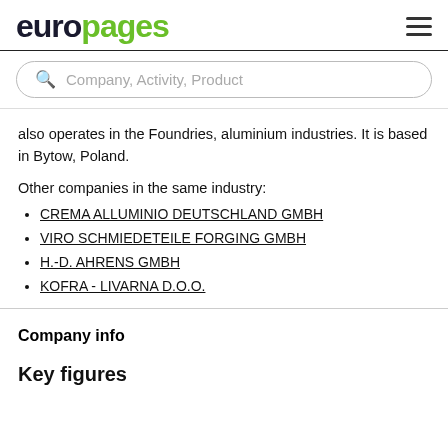europages
also operates in the Foundries, aluminium industries. It is based in Bytow, Poland.
Other companies in the same industry:
CREMA ALLUMINIO DEUTSCHLAND GMBH
VIRO SCHMIEDETEILE FORGING GMBH
H.-D. AHRENS GMBH
KOFRA - LIVARNA D.O.O.
Company info
Key figures